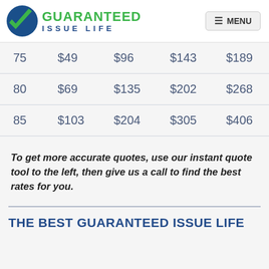[Figure (logo): Guaranteed Issue Life logo with blue circle, green checkmark, and company name]
| 75 | $49 | $96 | $143 | $189 |
| 80 | $69 | $135 | $202 | $268 |
| 85 | $103 | $204 | $305 | $406 |
To get more accurate quotes, use our instant quote tool to the left, then give us a call to find the best rates for you.
THE BEST GUARANTEED ISSUE LIFE